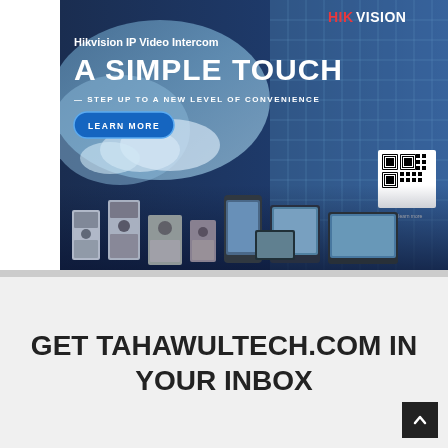[Figure (illustration): Hikvision IP Video Intercom advertisement banner. Dark blue background with a glass building, sky with clouds, and a lineup of intercom/video doorbell products at the bottom. Hikvision logo top right in red/white. Text: 'Hikvision IP Video Intercom', 'A SIMPLE TOUCH', '— STEP UP TO A NEW LEVEL OF CONVENIENCE', 'LEARN MORE' button, and a QR code.]
GET TAHAWULTECH.COM IN YOUR INBOX